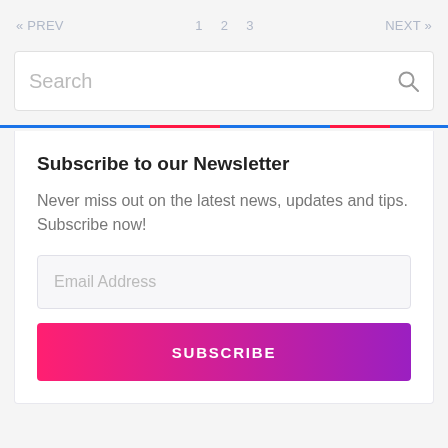« PREV   1   2   3   NEXT »
Search
[Figure (infographic): Colored horizontal bar made of alternating blue and red segments spanning full width]
Subscribe to our Newsletter
Never miss out on the latest news, updates and tips. Subscribe now!
Email Address
SUBSCRIBE